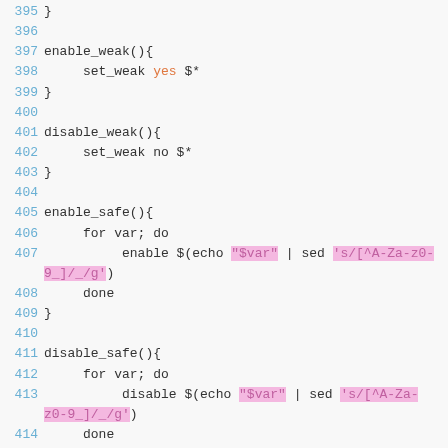[Figure (screenshot): Source code listing showing shell script functions: enable_weak, disable_weak, enable_safe, disable_safe, do_enable_deep, with line numbers 395-417. Syntax highlighted with blue line numbers, orange 'yes' keyword, and pink highlighted string patterns.]